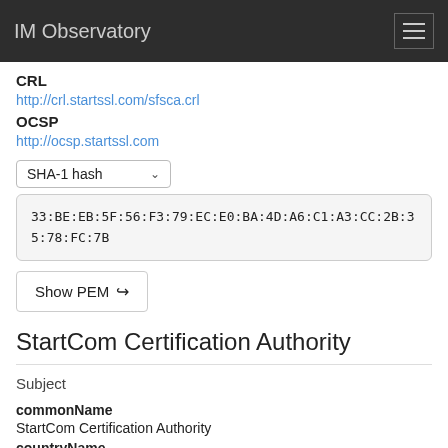IM Observatory
CRL
http://crl.startssl.com/sfsca.crl
OCSP
http://ocsp.startssl.com
SHA-1 hash
33:BE:EB:5F:56:F3:79:EC:E0:BA:4D:A6:C1:A3:CC:2B:35:78:FC:7B
Show PEM
StartCom Certification Authority
Subject
commonName
StartCom Certification Authority
countryName
IL